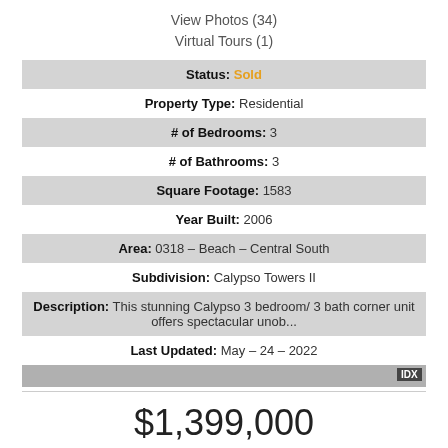View Photos (34)
Virtual Tours (1)
| Status: Sold |
| Property Type: Residential |
| # of Bedrooms: 3 |
| # of Bathrooms: 3 |
| Square Footage: 1583 |
| Year Built: 2006 |
| Area: 0318 - Beach - Central South |
| Subdivision: Calypso Towers II |
| Description: This stunning Calypso 3 bedroom/ 3 bath corner unit offers spectacular unob... |
| Last Updated: May - 24 - 2022 |
IDX
$1,399,000